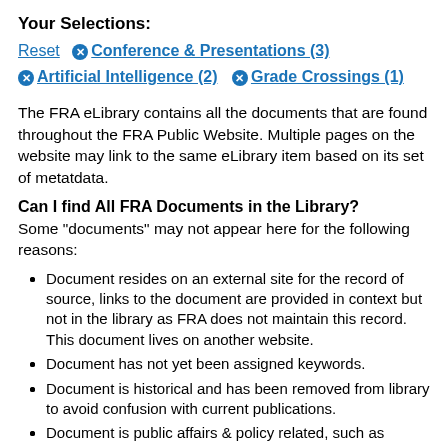Your Selections:
Reset  ✕ Conference & Presentations (3)  ✕ Artificial Intelligence (2)  ✕ Grade Crossings (1)
The FRA eLibrary contains all the documents that are found throughout the FRA Public Website. Multiple pages on the website may link to the same eLibrary item based on its set of metatdata.
Can I find All FRA Documents in the Library?
Some "documents" may not appear here for the following reasons:
Document resides on an external site for the record of source, links to the document are provided in context but not in the library as FRA does not maintain this record. This document lives on another website.
Document has not yet been assigned keywords.
Document is historical and has been removed from library to avoid confusion with current publications.
Document is public affairs & policy related, such as